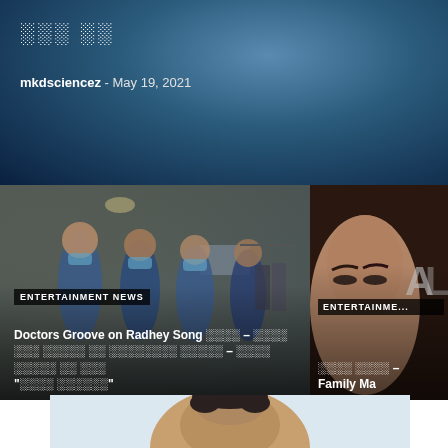░░░ ░░ — mkdsciencez - May 19, 2021
[Figure (photo): Two overlapping news article cards in a slider. Left card shows doctors in blue scrubs dancing/grooving in a room with headline 'ENTERTAINMENT NEWS — Doctors Groove on Radhey Song [Hindi text] — [Hindi text] — [Hindi text]'. Right card partially visible shows a close-up face with 'ENTERTAINMENT NEWS' label and 'Family Ma...' headline.]
[Figure (photo): Partial portrait photo of a young man with dark hair against a light background, visible at bottom of page.]